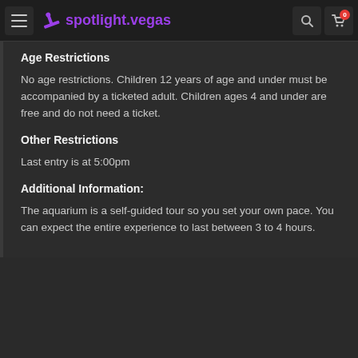spotlight.vegas
Age Restrictions
No age restrictions. Children 12 years of age and under must be accompanied by a ticketed adult. Children ages 4 and under are free and do not need a ticket.
Other Restrictions
Last entry is at 5:00pm
Additional Information:
The aquarium is a self-guided tour so you set your own pace. You can expect the entire experience to last between 3 to 4 hours.